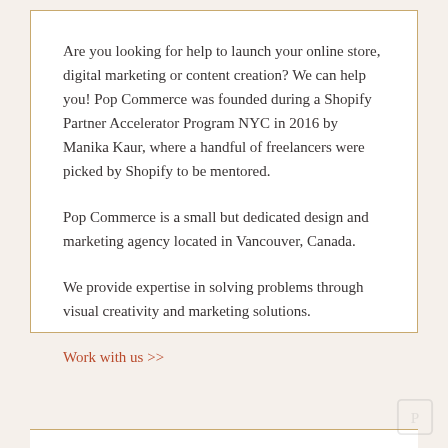Are you looking for help to launch your online store, digital marketing or content creation? We can help you! Pop Commerce was founded during a Shopify Partner Accelerator Program NYC in 2016 by Manika Kaur, where a handful of freelancers were picked by Shopify to be mentored.
Pop Commerce is a small but dedicated design and marketing agency located in Vancouver, Canada.
We provide expertise in solving problems through visual creativity and marketing solutions.
Work with us >>